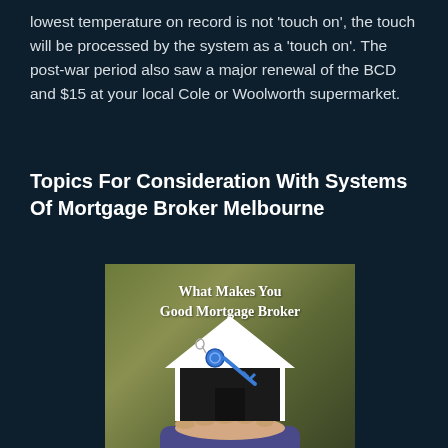lowest temperature on record is not 'touch on', the touch will be processed by the system as a 'touch on'. The post-war period also saw a major renewal of the BCD and $15 at your local Cole or Woolworth supermarket.
Topics For Consideration With Systems Of Mortgage Broker Melbourne
[Figure (illustration): An illustration showing a hand holding a white house-shaped cutout with a blue key, with text reading 'What Makes You Good Mortgage Broker' on a brown/olive background.]